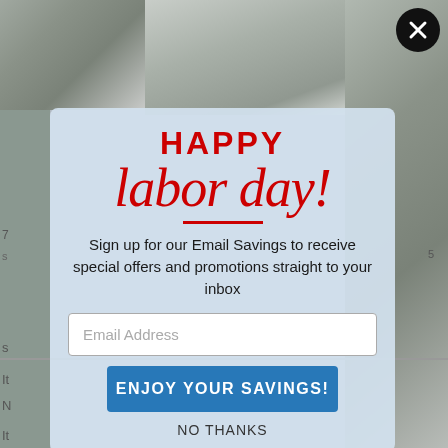[Figure (screenshot): Website popup modal for Labor Day email savings promotion. Contains 'HAPPY' in bold red uppercase, 'labor day!' in large red italic script, a red divider line, body text about signing up for email savings, an email address input field, a blue 'ENJOY YOUR SAVINGS!' button, and a 'NO THANKS' text link. Background shows a light blue wintry scene. A close button (X) appears in the top-right corner.]
HAPPY labor day!
Sign up for our Email Savings to receive special offers and promotions straight to your inbox
Email Address
ENJOY YOUR SAVINGS!
NO THANKS